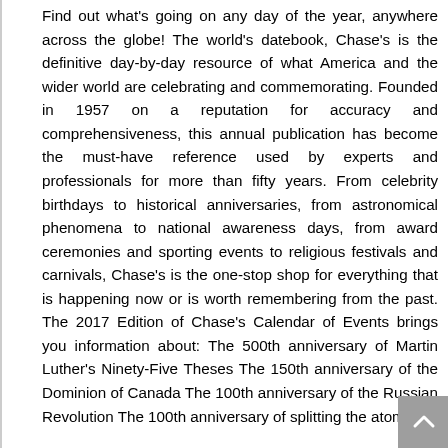Find out what's going on any day of the year, anywhere across the globe! The world's datebook, Chase's is the definitive day-by-day resource of what America and the wider world are celebrating and commemorating. Founded in 1957 on a reputation for accuracy and comprehensiveness, this annual publication has become the must-have reference used by experts and professionals for more than fifty years. From celebrity birthdays to historical anniversaries, from astronomical phenomena to national awareness days, from award ceremonies and sporting events to religious festivals and carnivals, Chase's is the one-stop shop for everything that is happening now or is worth remembering from the past. The 2017 Edition of Chase's Calendar of Events brings you information about: The 500th anniversary of Martin Luther's Ninety-Five Theses The 150th anniversary of the Dominion of Canada The 100th anniversary of the Russian Revolution The 100th anniversary of splitting the atom